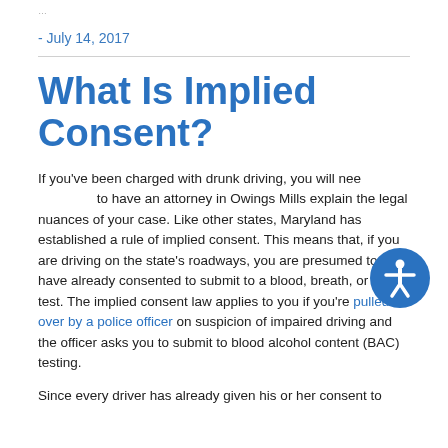…
- July 14, 2017
What Is Implied Consent?
If you've been charged with drunk driving, you will need to have an attorney in Owings Mills explain the legal nuances of your case. Like other states, Maryland has established a rule of implied consent. This means that, if you are driving on the state's roadways, you are presumed to have already consented to submit to a blood, breath, or urine test. The implied consent law applies to you if you're pulled over by a police officer on suspicion of impaired driving and the officer asks you to submit to blood alcohol content (BAC) testing.
Since every driver has already given his or her consent to